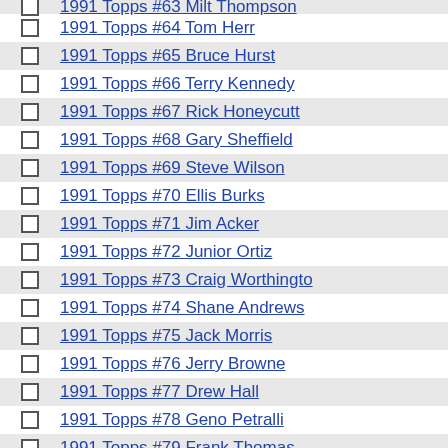1991 Topps #63 Milt Thompson
1991 Topps #64 Tom Herr
1991 Topps #65 Bruce Hurst
1991 Topps #66 Terry Kennedy
1991 Topps #67 Rick Honeycutt
1991 Topps #68 Gary Sheffield
1991 Topps #69 Steve Wilson
1991 Topps #70 Ellis Burks
1991 Topps #71 Jim Acker
1991 Topps #72 Junior Ortiz
1991 Topps #73 Craig Worthington
1991 Topps #74 Shane Andrews
1991 Topps #75 Jack Morris
1991 Topps #76 Jerry Browne
1991 Topps #77 Drew Hall
1991 Topps #78 Geno Petralli
1991 Topps #79 Frank Thomas
1991 Topps #80 (partial)